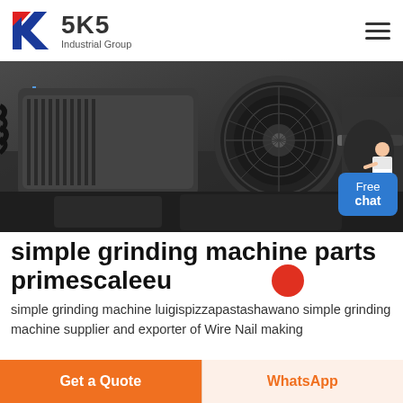[Figure (logo): SKS Industrial Group logo with stylized K in red and blue, brand name SKS in bold dark letters, subtitle Industrial Group]
[Figure (photo): Close-up industrial photo of a grinding machine showing motor, belts, and mechanical components in dark grey/black tones]
simple grinding machine parts primescaleeu
simple grinding machine luigispizzapastashawano simple grinding machine supplier and exporter of Wire Nail making